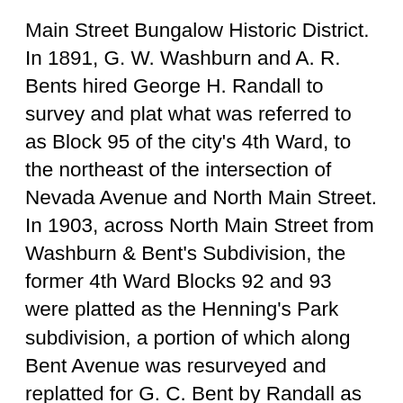Main Street Bungalow Historic District. In 1891, G. W. Washburn and A. R. Bents hired George H. Randall to survey and plat what was referred to as Block 95 of the city's 4th Ward, to the northeast of the intersection of Nevada Avenue and North Main Street. In 1903, across North Main Street from Washburn & Bent's Subdivision, the former 4th Ward Blocks 92 and 93 were platted as the Henning's Park subdivision, a portion of which along Bent Avenue was resurveyed and replatted for G. C. Bent by Randall as the Bent's Replat subdivision in 1907. The North Main Street Bungalow Historic District is located at the juncture of these three subdivisions. It was not until around 1908 that construction of homes began in any of these three subdivisions. The Frederick N. & Henrietta Appleyard and Martin T. & Mabel Appleyard House in the North Main Street Bungalow Historic District were two of the earliest houses constructed in these subdivisions. In the subsequent few years, six